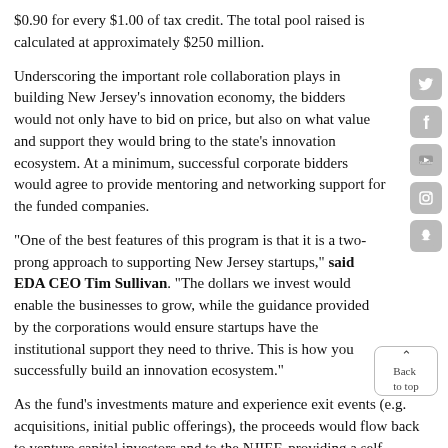$0.90 for every $1.00 of tax credit. The total pool raised is calculated at approximately $250 million.
Underscoring the important role collaboration plays in building New Jersey's innovation economy, the bidders would not only have to bid on price, but also on what value and support they would bring to the state's innovation ecosystem. At a minimum, successful corporate bidders would agree to provide mentoring and networking support for the funded companies.
"One of the best features of this program is that it is a two-prong approach to supporting New Jersey startups," said EDA CEO Tim Sullivan. "The dollars we invest would enable the businesses to grow, while the guidance provided by the corporations would ensure startups have the institutional support they need to thrive. This is how you successfully build an innovation ecosystem."
As the fund's investments mature and experience exit events (e.g. acquisitions, initial public offerings), the proceeds would flow back to venture capital investors and to the NJIEF, providing a self-sustaining stream of funds to support further investments. This structure would also allow the fund to share in the upside successes for the investment and create an "evergreen" instrument for the state.
Governor Murphy noted that each venture fund manager would share in the risks of the joint investment. The Fund would target companies in high-growth sectors with less than $10 million in